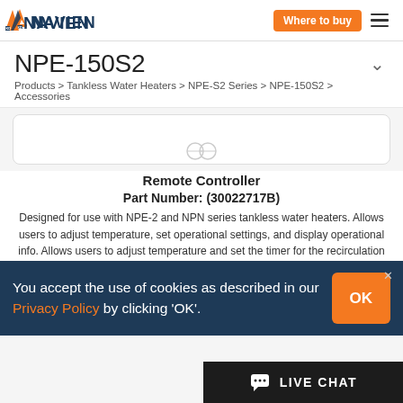Navien | Where to buy
NPE-150S2
Products > Tankless Water Heaters > NPE-S2 Series > NPE-150S2 > Accessories
[Figure (other): Product card image area (partially visible)]
Remote Controller
Part Number: (30022717B)
Designed for use with NPE-2 and NPN series tankless water heaters. Allows users to adjust temperature, set operational settings, and display operational info. Allows users to adjust temperature and set the timer for the recirculation activation on NPE-A2 models.
3 year warranty from date of purchase.
You accept the use of cookies as described in our Privacy Policy by clicking 'OK'.
LIVE CHAT